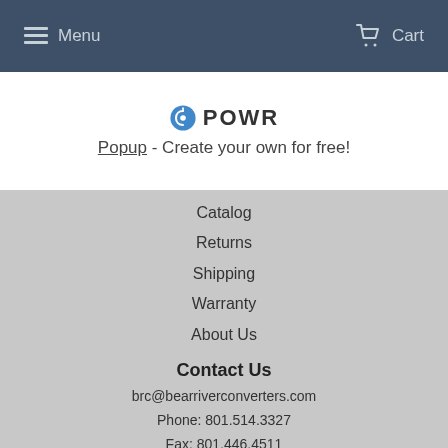Menu   Cart
[Figure (logo): POWR logo with blue icon and bold text 'POWR']
Popup - Create your own for free!
Catalog
Returns
Shipping
Warranty
About Us
Contact Us
brc@bearriverconverters.com
Phone: 801.514.3327
Fax: 801.446.4511
Business Accounts save up to 30%